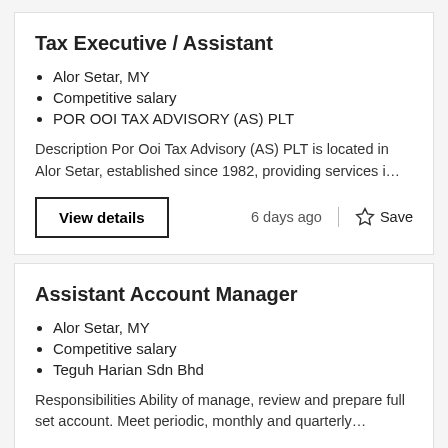Tax Executive / Assistant
Alor Setar, MY
Competitive salary
POR OOI TAX ADVISORY (AS) PLT
Description Por Ooi Tax Advisory (AS) PLT is located in Alor Setar, established since 1982, providing services i…
6 days ago
Assistant Account Manager
Alor Setar, MY
Competitive salary
Teguh Harian Sdn Bhd
Responsibilities Ability of manage, review and prepare full set account. Meet periodic, monthly and quarterly…